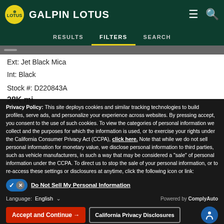GALPIN LOTUS
RESULTS  FILTERS  SEARCH
Ext: Jet Black Mica
Int: Black
Stock #: D220843A
28K mi
Privacy Policy: This site deploys cookies and similar tracking technologies to build profiles, serve ads, and personalize your experience across websites. By pressing accept, you consent to the use of such cookies. To view the categories of personal information we collect and the purposes for which the information is used, or to exercise your rights under the California Consumer Privacy Act (CCPA), click here. Note that while we do not sell personal information for monetary value, we disclose personal information to third parties, such as vehicle manufacturers, in such a way that may be considered a "sale" of personal information under the CCPA. To direct us to stop the sale of your personal information, or to re-access these settings or disclosures at anytime, click the following icon or link:
Do Not Sell My Personal Information
Language:  English
Powered by ComplyAuto
Accept and Continue →
California Privacy Disclosures